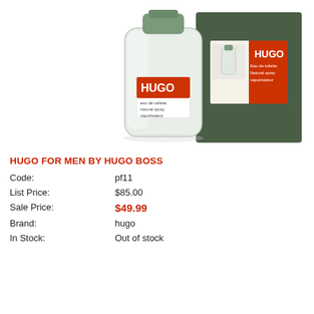[Figure (photo): Photo of Hugo Boss cologne bottle (clear glass with red HUGO label and green cap) next to its dark green box with the same label design]
HUGO FOR MEN BY HUGO BOSS
| Code: | pf11 |
| List Price: | $85.00 |
| Sale Price: | $49.99 |
| Brand: | hugo |
| In Stock: | Out of stock |